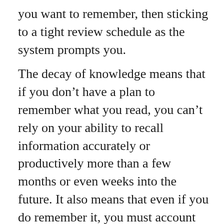you want to remember, then sticking to a tight review schedule as the system prompts you.
The decay of knowledge means that if you don't have a plan to remember what you read, you can't rely on your ability to recall information accurately or productively more than a few months or even weeks into the future. It also means that even if you do remember it, you must account for its half-life and assume that it may be outdated soon, if it isn't already.